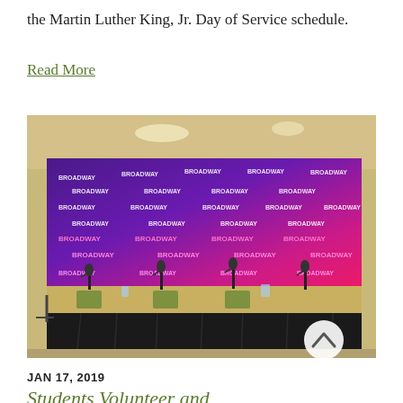the Martin Luther King, Jr. Day of Service schedule.
Read More
[Figure (photo): A press conference table setup with multiple microphones in front of a large purple-to-pink gradient BROADWAY branded step-and-repeat banner backdrop, with a black skirted table in the foreground.]
JAN 17, 2019
Students Volunteer and